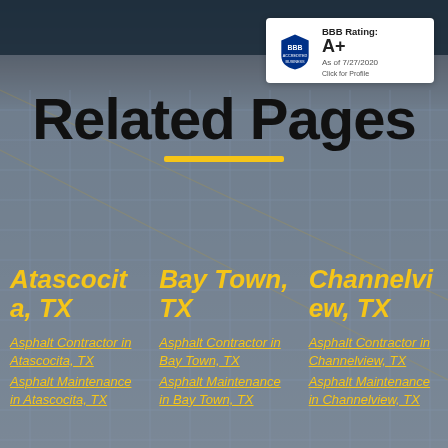[Figure (photo): Background photo of a building with a dark teal/blue-grey overlay, showing a commercial or industrial structure with grid-like facade]
[Figure (logo): BBB Accredited Business badge showing BBB Rating: A+, As of 7/27/2020, Click for Profile]
Related Pages
Atascocita, TX
Bay Town, TX
Channelview, TX
Asphalt Contractor in Atascocita, TX
Asphalt Contractor in Bay Town, TX
Asphalt Contractor in Channelview, TX
Asphalt Maintenance in Atascocita, TX
Asphalt Maintenance in Bay Town, TX
Asphalt Maintenance in Channelview, TX